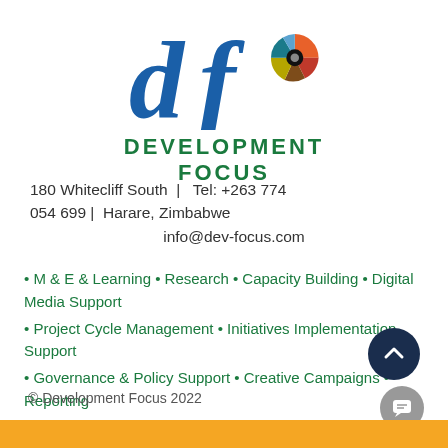[Figure (logo): Development Focus logo: stylized 'df' letters in blue with a colorful pinwheel/gear icon, and the text DEVELOPMENT FOCUS in green below]
180 Whitecliff South  |   Tel: +263 774 054 699 |  Harare, Zimbabwe
info@dev-focus.com
• M & E & Learning • Research • Capacity Building • Digital Media Support
• Project Cycle Management • Initiatives Implementation Support
• Governance & Policy Support • Creative Campaigns • Reporting
© Development Focus 2022